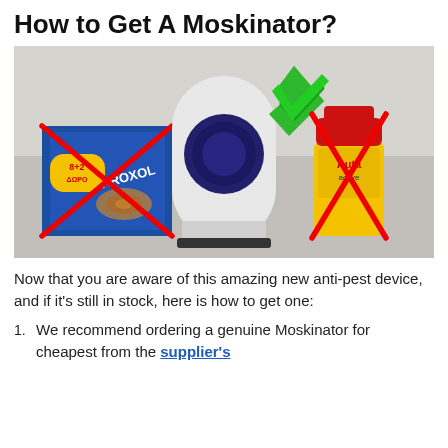How to Get A Moskinator?
[Figure (photo): Photo showing a white cylindrical Moskinator device in the center with a green checkmark, flanked by a blue Aroxol mosquito coil box with a red X and a yellow/red Autan repellent spray bottle with a red X.]
Now that you are aware of this amazing new anti-pest device, and if it's still in stock, here is how to get one:
We recommend ordering a genuine Moskinator for cheapest from the supplier's